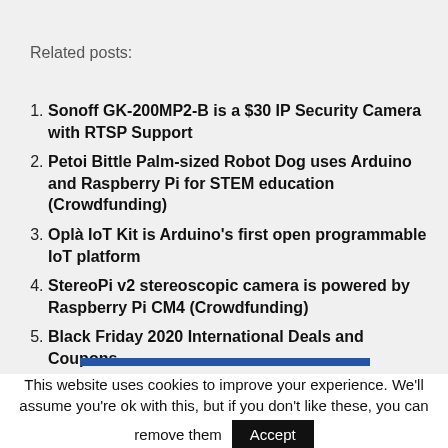Related posts:
Sonoff GK-200MP2-B is a $30 IP Security Camera with RTSP Support
Petoi Bittle Palm-sized Robot Dog uses Arduino and Raspberry Pi for STEM education (Crowdfunding)
Oplà IoT Kit is Arduino's first open programmable IoT platform
StereoPi v2 stereoscopic camera is powered by Raspberry Pi CM4 (Crowdfunding)
Black Friday 2020 International Deals and Coupons
This website uses cookies to improve your experience. We'll assume you're ok with this, but if you don't like these, you can remove them Accept